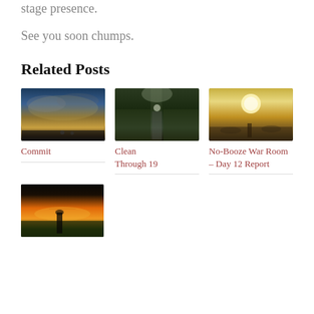stage presence.
See you soon chumps.
Related Posts
[Figure (photo): Dramatic cloudy sky at dusk with silhouetted figures on a road]
Commit
[Figure (photo): Person walking down a misty forest path with umbrella]
Clean Through 19
[Figure (photo): Bright sun in foggy sky with person on a misty road]
No-Booze War Room – Day 12 Report
[Figure (photo): Person standing in a field at sunset with orange sky]